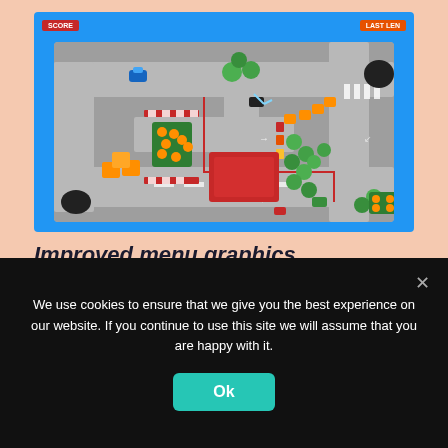[Figure (screenshot): A top-down 2D road/traffic game screenshot with a blue border. Shows a road network with cars, trees (green circles), barriers, a red building, road markings, score boxes in top corners labeled 'SCORE' and 'LAST LEN'.]
Improved menu graphics
We've replaced the menu with a new
We use cookies to ensure that we give you the best experience on our website. If you continue to use this site we will assume that you are happy with it.